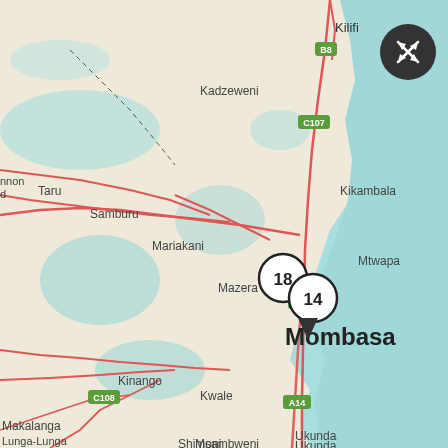[Figure (map): Map of Mombasa, Kenya and surrounding region. Shows coastal area with Indian Ocean on the east (light teal/cyan), land areas in white/light yellow, water bodies in light teal. Major locations labeled: Kilifi (top right), Kadzeweni, Kikambala, Samburu, Taru (left), Mariakani, Mtwapa, Mazera, Mombasa (center, large bold text), Kinango, Kwale, Ukunda, Makalanga, Msambweni, Lunga-Lunga, Shimoni. Road markers shown: B8 (green), C107 (green), A14 (green, twice), C108 (green). Red roads network throughout. Two circular cluster markers near Mombasa center: '18' and '14' in white circles with black borders. Small compass/zoom button in top-right corner (dark circle with arrows icon).]